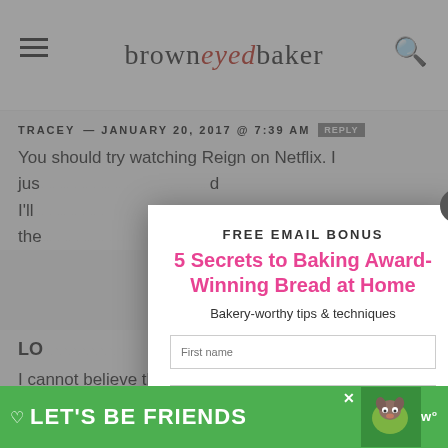browneyed baker
TRACEY — JANUARY 20, 2017 @ 7:39 AM  REPLY
You should try watching Reign on Netflix. I just... and I'll... the...
[Figure (screenshot): Email signup modal popup with title 'FREE EMAIL BONUS', subtitle '5 Secrets to Baking Award-Winning Bread at Home', tagline 'Bakery-worthy tips & techniques', input fields for First name and Email, and a pink button 'YES, I WANT THIS']
I cannot believe the big change in Dominic.
I enjoyed seeing the pictures from Joseph's
[Figure (infographic): Green bottom banner ad reading LET'S BE FRIENDS with a dog photo]